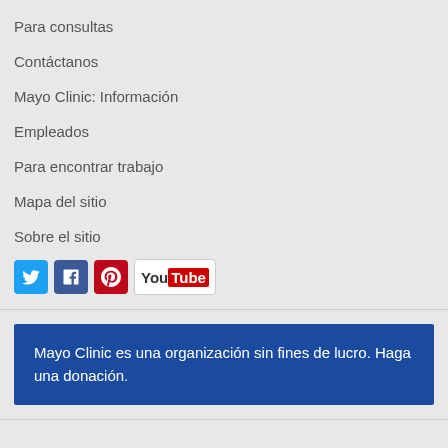Para consultas
Contáctanos
Mayo Clinic: Información
Empleados
Para encontrar trabajo
Mapa del sitio
Sobre el sitio
[Figure (illustration): Social media icons: Twitter, Facebook, Pinterest, YouTube]
Mayo Clinic es una organización sin fines de lucro. Haga una donación.